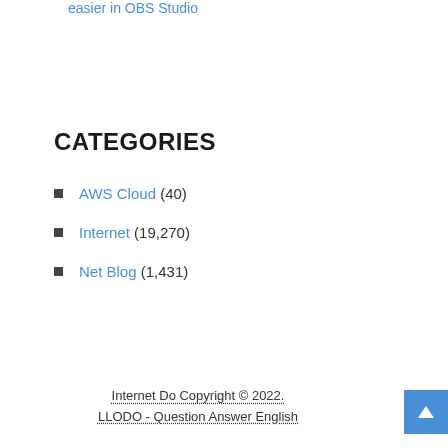easier in OBS Studio
CATEGORIES
AWS Cloud (40)
Internet (19,270)
Net Blog (1,431)
Internet Do Copyright © 2022. LLODO - Question Answer English